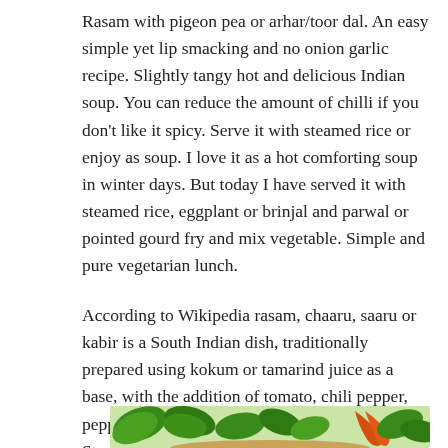Rasam with pigeon pea or arhar/toor dal. An easy simple yet lip smacking and no onion garlic recipe. Slightly tangy hot and delicious Indian soup. You can reduce the amount of chilli if you don't like it spicy. Serve it with steamed rice or enjoy as soup. I love it as a hot comforting soup in winter days. But today I have served it with steamed rice, eggplant or brinjal and parwal or pointed gourd fry and mix vegetable. Simple and pure vegetarian lunch.
According to Wikipedia rasam, chaaru, saaru or kabir is a South Indian dish, traditionally prepared using kokum or tamarind juice as a base, with the addition of tomato, chili pepper, pepper, cumin and other spices as seasonings. Steamed lentils can be added along with any preferred vegetables.
[Figure (photo): Photo of a bowl of rasam soup with green leaves and orange/red chili garnishes visible at the bottom of the page]